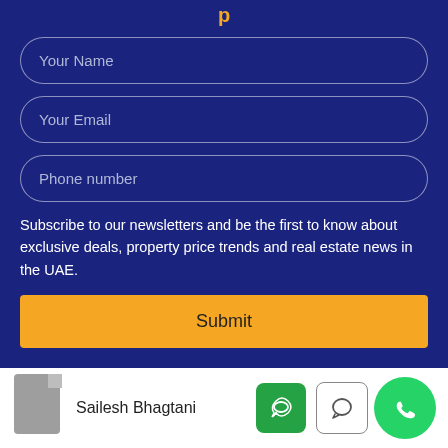Your Name
Your Email
Phone number
Subscribe to our newsletters and be the first to know about exclusive deals, property price trends and real estate news in the UAE.
Submit
Sailesh Bhagtani